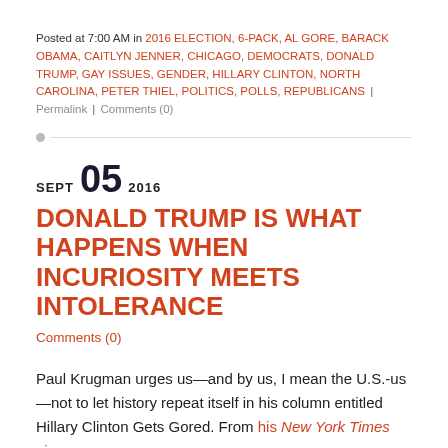Posted at 7:00 AM in 2016 ELECTION, 6-PACK, AL GORE, BARACK OBAMA, CAITLYN JENNER, CHICAGO, DEMOCRATS, DONALD TRUMP, GAY ISSUES, GENDER, HILLARY CLINTON, NORTH CAROLINA, PETER THIEL, POLITICS, POLLS, REPUBLICANS | Permalink | Comments (0)
SEPT 05 2016
Donald Trump Is WHAT HAPPENS WHEN INCURIOSITY MEETS INTOLERANCE
Comments (0)
Paul Krugman urges us—and by us, I mean the U.S.-us—not to let history repeat itself in his column entitled Hillary Clinton Gets Gored. From his New York Times piece: